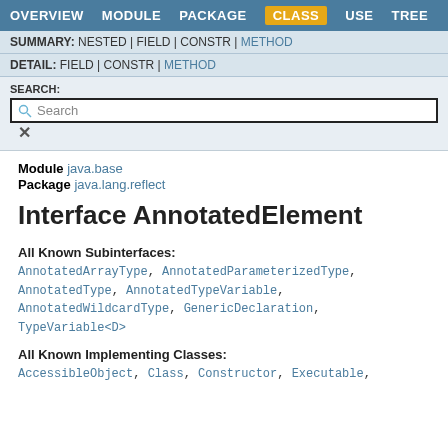OVERVIEW  MODULE  PACKAGE  CLASS  USE  TREE
SUMMARY: NESTED | FIELD | CONSTR | METHOD
DETAIL: FIELD | CONSTR | METHOD
SEARCH:
Module java.base
Package java.lang.reflect
Interface AnnotatedElement
All Known Subinterfaces:
AnnotatedArrayType, AnnotatedParameterizedType, AnnotatedType, AnnotatedTypeVariable, AnnotatedWildcardType, GenericDeclaration, TypeVariable<D>
All Known Implementing Classes:
AccessibleObject, Class, Constructor, Executable,